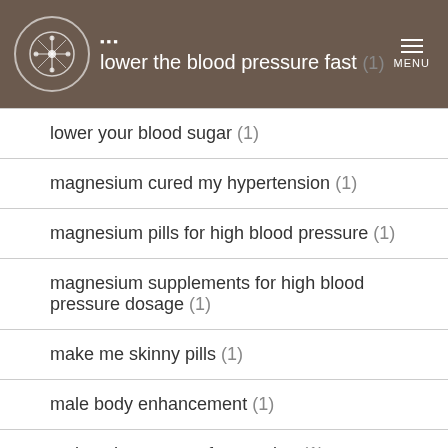lower the blood pressure fast (1)
lower your blood sugar (1)
magnesium cured my hypertension (1)
magnesium pills for high blood pressure (1)
magnesium supplements for high blood pressure dosage (1)
make me skinny pills (1)
male body enhancement (1)
male enhancement for stamina (1)
male enhancement formula dmp (1)
male enhancement naturally (1)